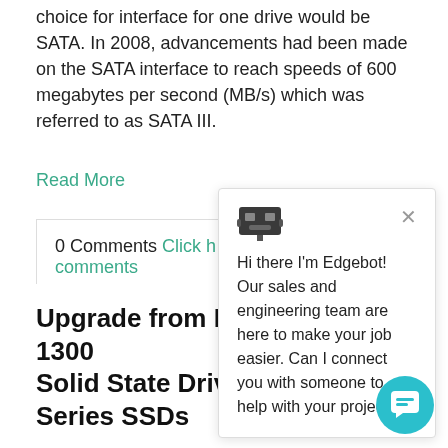choice for interface for one drive would be SATA. In 2008, advancements had been made on the SATA interface to reach speeds of 600 megabytes per second (MB/s) which was referred to as SATA III.
Read More
0 Comments Click here to leave or read comments
Topics: Micron, SSDs,
[Figure (screenshot): Edgebot chat popup with robot icon and close button, containing the message: Hi there I'm Edgebot! Our sales and engineering team are here to make your job easier. Can I connect you with someone to help with your project?]
[Figure (illustration): Teal circular chat button in bottom right corner with chat bubble icon]
Upgrade from Micron's EOL 1300 Solid State Drives to 5300 Series SSDs